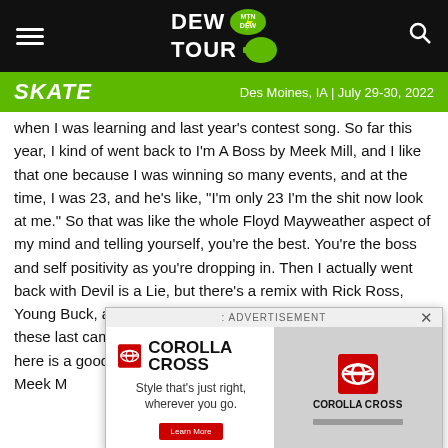DEW TOUR — Des Moines, IA | July 29-30, 2022
SKATE — Des Moines, IA | July 29-30, 2022
when I was learning and last year's contest song. So far this year, I kind of went back to I'm A Boss by Meek Mill, and I like that one because I was winning so many events, and at the time, I was 23, and he's like, "I'm only 23 I'm the shit now look at me." So that was like the whole Floyd Mayweather aspect of my mind and telling yourself, you're the best. You're the boss and self positivity as you're dropping in. Then I actually went back with Devil is a Lie, but there's a remix with Rick Ross, Young Buck, and Jay-Z, and that's been a popular song for these last camps that were in the fall and ... here is a good ... part, Meek M... just because ... d have good b...
[Figure (screenshot): Toyota Corolla Cross advertisement overlay with brand logo, tagline 'Style that's just right, wherever you go.' and a Learn More button. Right side shows vehicle image placeholder with COROLLA CROSS text.]